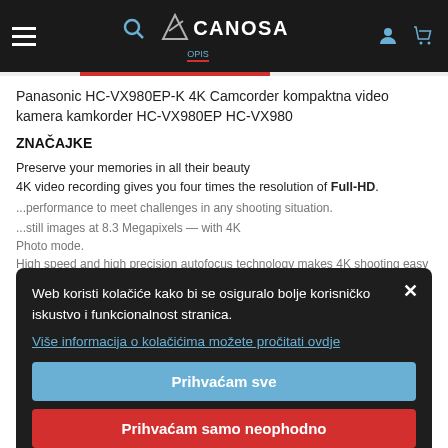CANOSA navigation header with hamburger menu, search, logo, user, and cart icons
Panasonic HC-VX980EP-K 4K Camcorder kompaktna video kamera kamkorder HC-VX980EP HC-VX980
ZNAČAJKE
Preserve your memories in all their beauty
4K video recording gives you four times the resolution of Full-HD.
Web koristi kolačiće kako bi se osiguralo bolje korisničko iskustvo i funkcionalnost stranica.
Više informacija o kolačićima možete pročitati ovdje
Prihvaćam sve
Prihvaćam samo neophodno
4K Cropping
Smooth Zooming